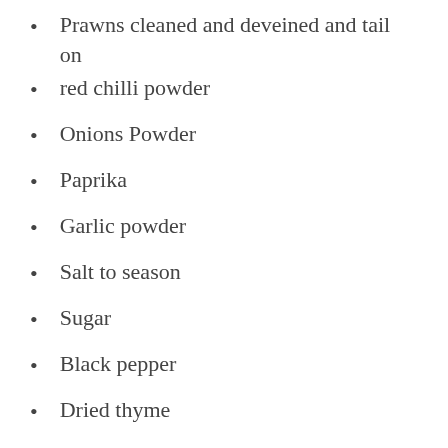Prawns cleaned and deveined and tail on
red chilli powder
Onions Powder
Paprika
Garlic powder
Salt to season
Sugar
Black pepper
Dried thyme
Dried Oregano